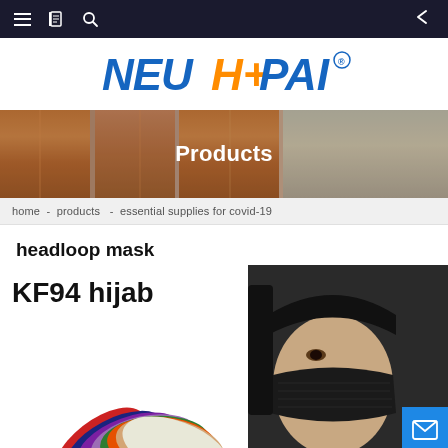Navigation bar with hamburger menu, book icon, search icon, and back arrow
[Figure (logo): NEUHPAI logo in blue italic bold letters with orange plus sign, with registered trademark symbol]
[Figure (photo): Products banner with metallic copper/bronze fabric background and white bold text 'Products']
home - products - essential supplies for covid-19
headloop mask
[Figure (photo): KF94 hijab product image showing colorful fan of KF94 masks and a person wearing a black headloop mask]